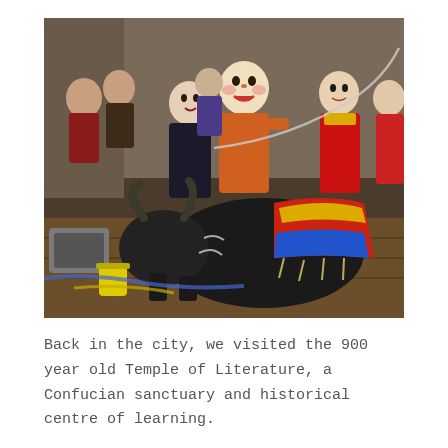[Figure (photo): Colorful Vietnamese water puppets stored in a workshop. Several human-shaped puppets in red, orange, and black costumes are visible, along with a large dark buffalo puppet adorned with red, blue, and yellow decorative cloth. Wires and tubes are visible in the cluttered storage area.]
Back in the city, we visited the 900 year old Temple of Literature, a Confucian sanctuary and historical centre of learning.